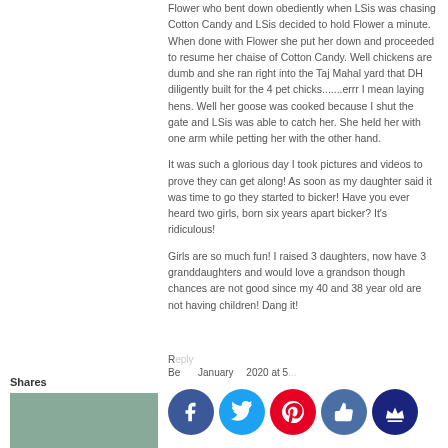Flower who bent down obediently when LSis was chasing Cotton Candy and LSis decided to hold Flower a minute. When done with Flower she put her down and proceeded to resume her chaise of Cotton Candy. Well chickens are dumb and she ran right into the Taj Mahal yard that DH diligently built for the 4 pet chicks.......errr I mean laying hens. Well her goose was cooked because I shut the gate and LSis was able to catch her. She held her with one arm while petting her with the other hand.
It was such a glorious day I took pictures and videos to prove they can get along! As soon as my daughter said it was time to go they started to bicker! Have you ever heard two girls, born six years apart bicker? It's ridiculous!
Girls are so much fun! I raised 3 daughters, now have 3 granddaughters and would love a grandson though chances are not good since my 40 and 38 year old are not having children! Dang it!
Be... January 2020 at 5...